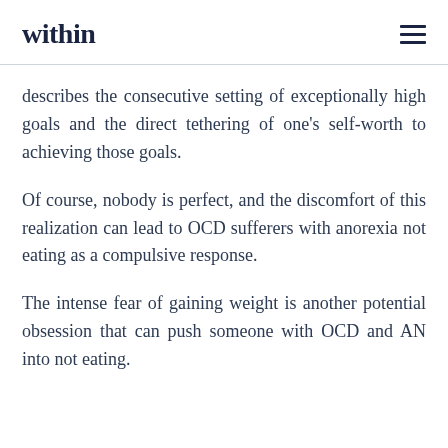within
describes the consecutive setting of exceptionally high goals and the direct tethering of one's self-worth to achieving those goals.
Of course, nobody is perfect, and the discomfort of this realization can lead to OCD sufferers with anorexia not eating as a compulsive response.
The intense fear of gaining weight is another potential obsession that can push someone with OCD and AN into not eating.